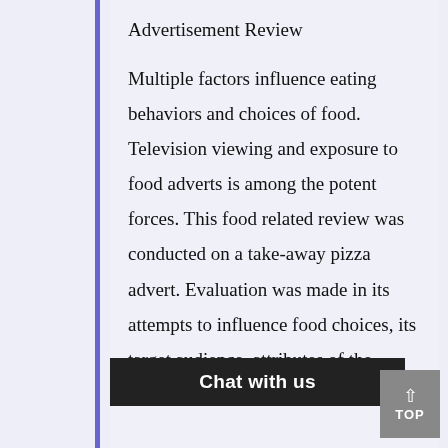Advertisement Review
Multiple factors influence eating behaviors and choices of food. Television viewing and exposure to food adverts is among the potent forces. This food related review was conducted on a take-away pizza advert. Evaluation was made in its attempts to influence food choices, its target audience, attributes of the product being emphasized, the mechanisms of…attention